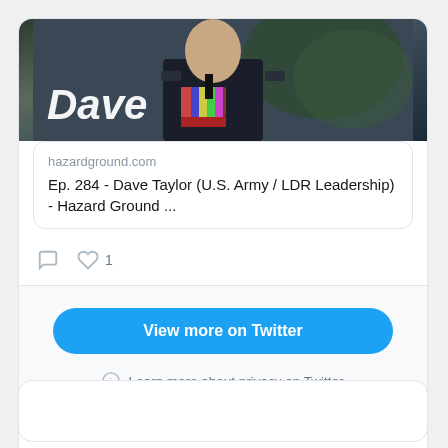[Figure (screenshot): Twitter/X embed card showing a podcast episode with Dave Taylor (U.S. Army / LDR Leadership) on hazardground.com, with comment and like (1) icons, a 'View more on Twitter' button, and a privacy info link.]
hazardground.com
Ep. 284 - Dave Taylor (U.S. Army / LDR Leadership) - Hazard Ground ...
1
View more on Twitter
Learn more about privacy on Twitter